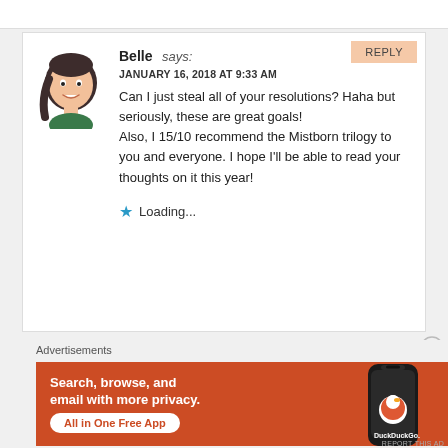[Figure (illustration): Top white bar element]
REPLY
[Figure (illustration): Cartoon avatar of a girl with dark hair in a green top]
Belle says:
JANUARY 16, 2018 AT 9:33 AM
Can I just steal all of your resolutions? Haha but seriously, these are great goals!
Also, I 15/10 recommend the Mistborn trilogy to you and everyone. I hope I'll be able to read your thoughts on it this year!
Loading...
Advertisements
[Figure (screenshot): DuckDuckGo advertisement banner with orange background. Text: Search, browse, and email with more privacy. All in One Free App. Shows a phone with DuckDuckGo logo.]